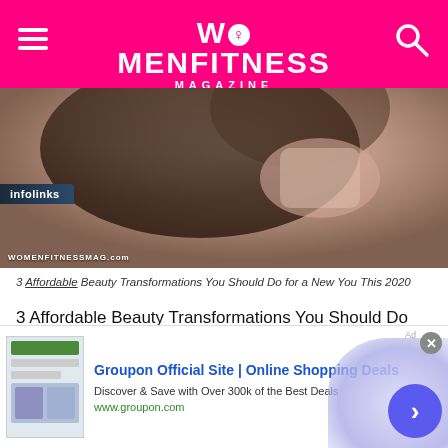WOMENFITNESS MAGAZINE
[Figure (photo): Close-up photo of a woman's face and hand with painted nails, watermarked WOMENFITNESSMAG.com]
3 Affordable Beauty Transformations You Should Do for a New You This 2020
3 Affordable Beauty Transformations You Should Do for a New You This 2020 : The new year signals a fresh start, and if you feel like you're up for a makeover, now's as good a time as any. There are plenty of things you can do to improve your look or add to your beauty routine, and the best part is you don't have to go broke doing it.
[Figure (screenshot): Groupon advertisement banner: Groupon Official Site | Online Shopping Deals. Discover & Save with Over 300k of the Best Deals. www.groupon.com. With infolinks tag and navigation arrow.]